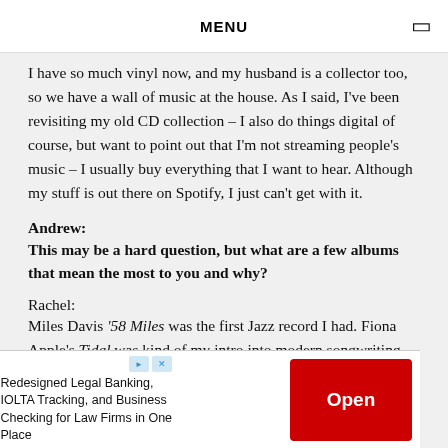MENU
I have so much vinyl now, and my husband is a collector too, so we have a wall of music at the house. As I said, I've been revisiting my old CD collection – I also do things digital of course, but want to point out that I'm not streaming people's music – I usually buy everything that I want to hear. Although my stuff is out there on Spotify, I just can't get with it.
Andrew:
This may be a hard question, but what are a few albums that mean the most to you and why?
Rachel:
Miles Davis '58 Miles was the first Jazz record I had. Fiona Apple's Tidal was kind of my intro into modern songwriting and Bowie's Blackstar for so many reasons – it's a musical
[Figure (other): Advertisement banner: Redesigned Legal Banking, IOLTA Tracking, and Business Checking for Law Firms in One Place. With an Open button in red.]